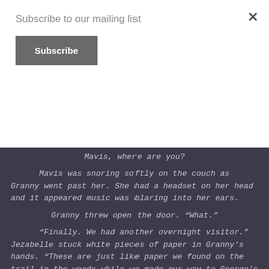Subscribe to our mailing list
Subscribe
Mavis, where are you?
Mavis was snoring softly on the couch as Granny went past her. She had a headset on her head and it appeared music was blaring into her ears.
Granny threw open the door. “What.”
“Finally. We had another overnight visitor.” Jezabelle stuck white pieces of paper in Granny’s hands. “These are just like paper we found on the trail in the woods while we made our way to George’s